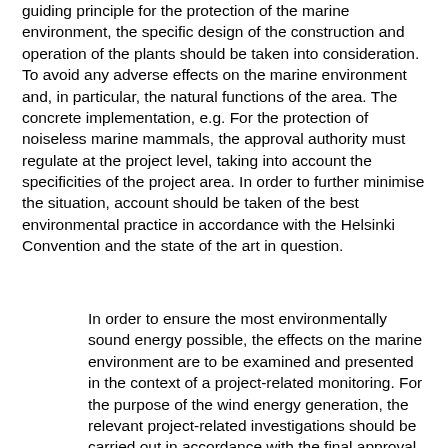guiding principle for the protection of the marine environment, the specific design of the construction and operation of the plants should be taken into consideration. To avoid any adverse effects on the marine environment and, in particular, the natural functions of the area. The concrete implementation, e.g. For the protection of noiseless marine mammals, the approval authority must regulate at the project level, taking into account the specificities of the project area. In order to further minimise the situation, account should be taken of the best environmental practice in accordance with the Helsinki Convention and the state of the art in question.
In order to ensure the most environmentally sound energy possible, the effects on the marine environment are to be examined and presented in the context of a project-related monitoring. For the purpose of the wind energy generation, the relevant project-related investigations should be carried out in accordance with the final approval requirements for the investigation and monitoring of the effects of offshore wind energy plants. The results obtained here will be used for monitoring the implementation of the spatial planning plan.
Section 2, paragraph 2, point 8 of the ROG 1998 (cf.